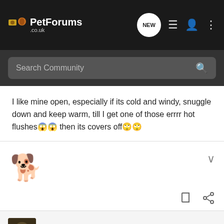PetForums .co.uk
Search Community
I like mine open, especially if its cold and windy, snuggle down and keep warm, till I get one of those errrr hot flushes😱😱 then its covers off🙄🙄
[Figure (illustration): Running dog/cat emoji illustration]
Zayna · Registered
Joined Apr 19, 2009 · 4,756 Posts
#2 · Oct 26, 2012